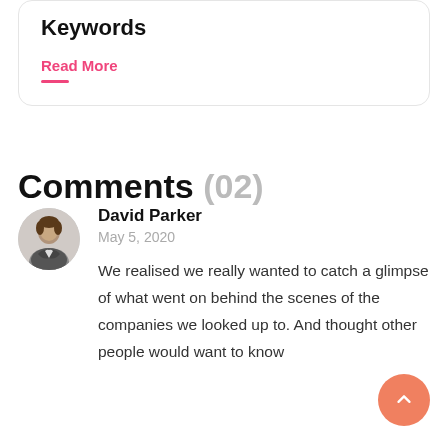Keywords
Read More
Comments (02)
David Parker
May 5, 2020
We realised we really wanted to catch a glimpse of what went on behind the scenes of the companies we looked up to. And thought other people would want to know